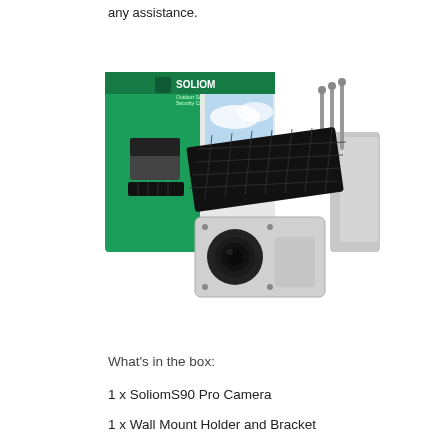any assistance.
[Figure (photo): Soliom S90 Pro solar-powered outdoor security camera with wall mount bracket and three antennas, shown next to its retail box (green and white packaging with the Soliom logo).]
What’s in the box:
1 x SoliomS90 Pro Camera
1 x Wall Mount Holder and Bracket